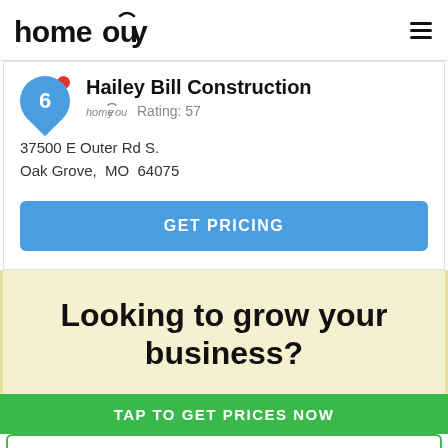homeyou
Hailey Bill Construction
homeyou Rating: 57
37500 E Outer Rd S.
Oak Grove, MO  64075
GET PRICING
Looking to grow your business?
TAP TO GET PRICES NOW
1-844-HOMEYOU